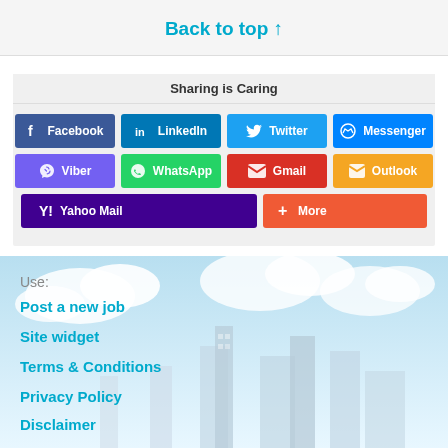Back to top ↑
Sharing is Caring
Facebook | LinkedIn | Twitter | Messenger | Viber | WhatsApp | Gmail | Outlook | Yahoo Mail | More
Use:
Post a new job
Site widget
Terms & Conditions
Privacy Policy
Disclaimer